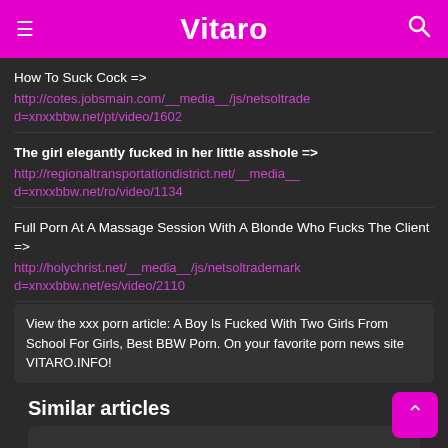Vitaro
How To Suck Cock => http://cotes.jobsmain.com/__media__/js/netsoltrade d=xnxxbbw.net/pt/video/1602
The girl elegantly fucked in her little asshole => http://regionaltransportationdistrict.net/__media__ d=xnxxbbw.net/ro/video/1134
Full Porn At A Massage Session With A Blonde Who Fucks The Client => http://holychrist.net/__media__/js/netsoltrademark d=xnxxbbw.net/es/video/2110
View the xxx porn article: A Boy Is Fucked With Two Girls From School For Girls, Best BBW Porn. On your favorite porn news site VITARO.INFO!
Similar articles